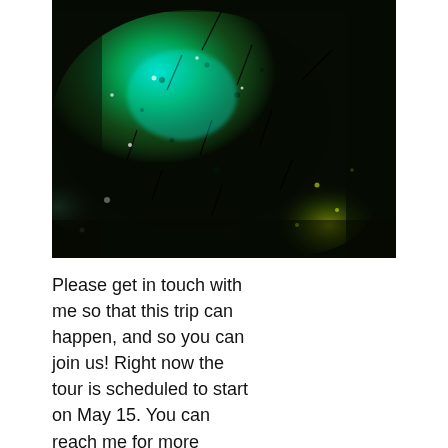[Figure (photo): Close-up macro photograph of a green, teal, and black iridescent surface — possibly a beetle wing or leaf — with sparkling green and yellow highlights and dark spines or hairs visible against a dark background.]
Please get in touch with me so that this trip can happen, and so you can join us! Right now the tour is scheduled to start on May 15. You can reach me for more